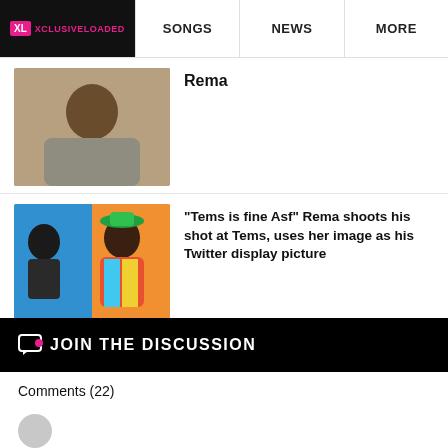XL XCLUSIVELOADED | SONGS | NEWS | MORE
Rema
[Figure (photo): Photo thumbnail of a young man with braids]
[Figure (photo): Photo thumbnail collage of two people – a woman and a man in colorful jacket]
“Tems is fine Asf” Rema shoots his shot at Tems, uses her image as his Twitter display picture
JOIN THE DISCUSSION
Comments (22)